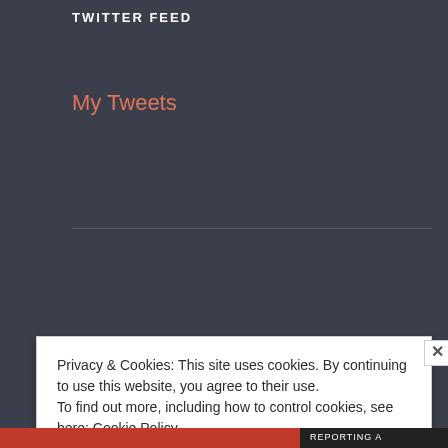TWITTER FEED
My Tweets
RSS - Posts
RSS - Comments
META
Privacy & Cookies: This site uses cookies. By continuing to use this website, you agree to their use.
To find out more, including how to control cookies, see here: Cookie Policy
Close and accept